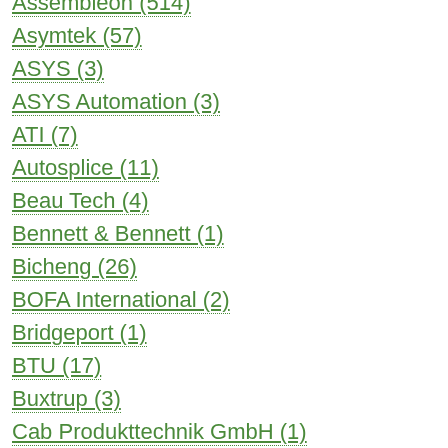Assembleon (514)
Asymtek (57)
ASYS (3)
ASYS Automation (3)
ATI (7)
Autosplice (11)
Beau Tech (4)
Bennett & Bennett (1)
Bicheng (26)
BOFA International (2)
Bridgeport (1)
BTU (17)
Buxtrup (3)
Cab Produkttechnik GmbH (1)
California Instruments (3)
Camalot (22)
Casio (31)
Cencorp (11)